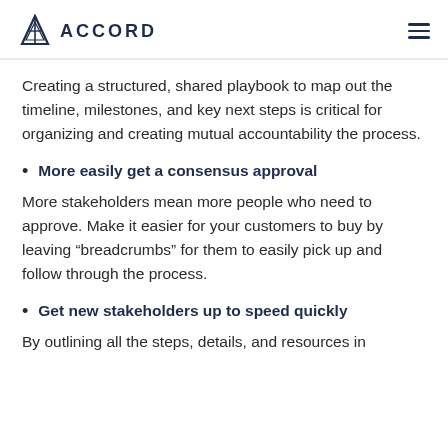ACCORD
Creating a structured, shared playbook to map out the timeline, milestones, and key next steps is critical for organizing and creating mutual accountability the process.
More easily get a consensus approval
More stakeholders mean more people who need to approve. Make it easier for your customers to buy by leaving “breadcrumbs” for them to easily pick up and follow through the process.
Get new stakeholders up to speed quickly
By outlining all the steps, details, and resources in